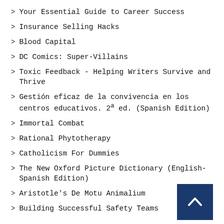Your Essential Guide to Career Success
Insurance Selling Hacks
Blood Capital
DC Comics: Super-Villains
Toxic Feedback - Helping Writers Survive and Thrive
Gestión eficaz de la convivencia en los centros educativos. 2ª ed. (Spanish Edition)
Immortal Combat
Rational Phytotherapy
Catholicism For Dummies
The New Oxford Picture Dictionary (English-Spanish Edition)
Aristotle's De Motu Animalium
Building Successful Safety Teams